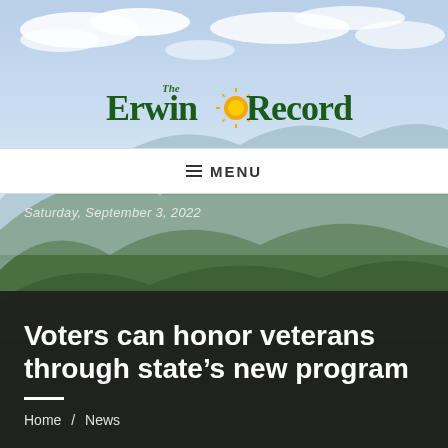[Figure (photo): Mountain landscape with sky and clouds background photo for The Erwin Record newspaper website header]
The Erwin Record
≡ MENU
Saturday, September 3, 2022
Voters can honor veterans through state’s new program
Home / News